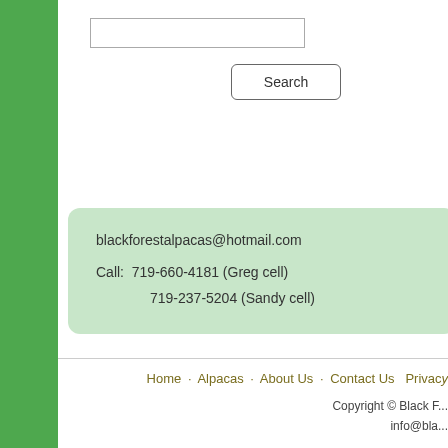[search input field]
Search
blackforestalpacas@hotmail.com
Call:  719-660-4181 (Greg cell)
       719-237-5204 (Sandy cell)
Home · Alpacas · About Us · Contact Us · Privacy
Copyright © Black F...
info@bla...